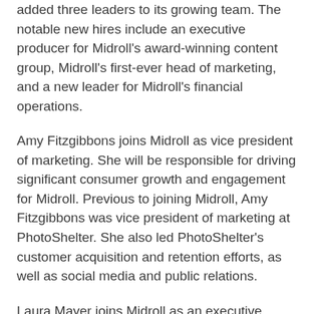added three leaders to its growing team. The notable new hires include an executive producer for Midroll's award-winning content group, Midroll's first-ever head of marketing, and a new leader for Midroll's financial operations.
Amy Fitzgibbons joins Midroll as vice president of marketing. She will be responsible for driving significant consumer growth and engagement for Midroll. Previous to joining Midroll, Amy Fitzgibbons was vice president of marketing at PhotoShelter. She also led PhotoShelter's customer acquisition and retention efforts, as well as social media and public relations.
Laura Mayer joins Midroll as an executive producer. She will be responsible for the development, production, and launch of new podcasts for Midroll's comedy-focused Earwolf network, as well as its Stitcher label. Previous to joining Midroll, Laura